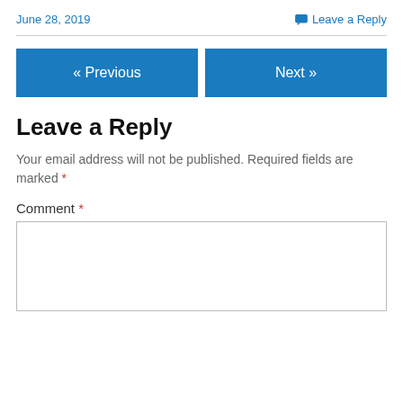June 28, 2019
Leave a Reply
« Previous
Next »
Leave a Reply
Your email address will not be published. Required fields are marked *
Comment *